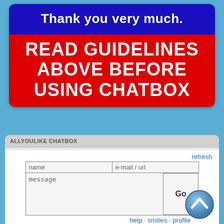Thank you very much.
READ GUIDELINES ABOVE BEFORE USING CHATBOX
ALLYOULIKE CHATBOX
refresh
[Figure (screenshot): Chatbox form with name, e-mail/url fields, message textarea, and Go button]
help · smilies · profile
Enter Username, Email Address, then click on Profile
06/11/21 04:53 PM
Demented Labrador: Requesting The Wyckoff Methodology book, please? Thanks